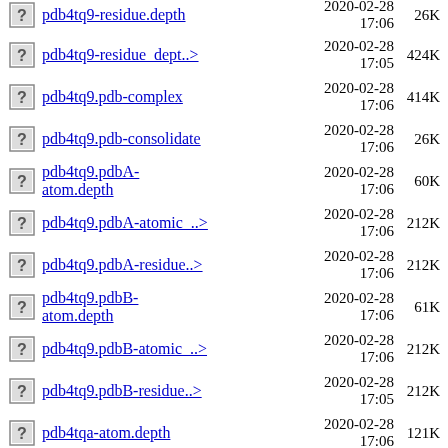pdb4tq9-residue.depth  2020-02-28 17:06  26K
pdb4tq9-residue_dept..>  2020-02-28 17:05  424K
pdb4tq9.pdb-complex  2020-02-28 17:06  414K
pdb4tq9.pdb-consolidate  2020-02-28 17:06  26K
pdb4tq9.pdbA-atom.depth  2020-02-28 17:06  60K
pdb4tq9.pdbA-atomic_..>  2020-02-28 17:06  212K
pdb4tq9.pdbA-residue..>  2020-02-28 17:06  212K
pdb4tq9.pdbB-atom.depth  2020-02-28 17:06  61K
pdb4tq9.pdbB-atomic_..>  2020-02-28 17:06  212K
pdb4tq9.pdbB-residue..>  2020-02-28 17:05  212K
pdb4tqa-atom.depth  2020-02-28 17:06  121K
pdb4tqa-atomic_depth_..>  2020-02-28  423K